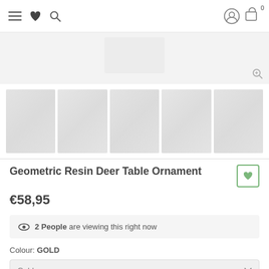Navigation bar with menu, favourites, search icons on left; account and cart icons on right
[Figure (photo): Main product image strip showing geometric resin deer ornament, partially visible]
[Figure (photo): Row of five product thumbnail images showing geometric resin deer ornament from various angles]
Geometric Resin Deer Table Ornament
€58,95
2 People are viewing this right now
Colour: GOLD
Gold